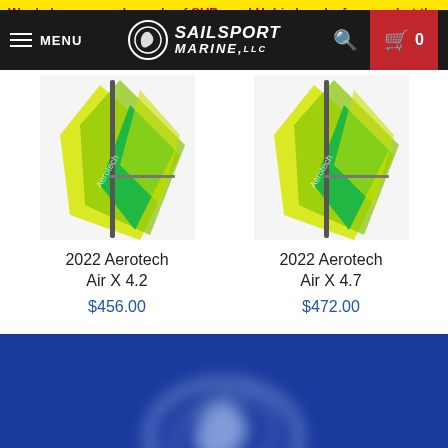We do have a good supply of SUPs and Hobie kayaks for now, but they
[Figure (screenshot): Sailsport Marine LLC navigation bar with hamburger menu, MENU text, logo emblem, SAILSPORT MARINE LLC text, search icon, and cart button showing 0 items]
[Figure (photo): 2022 Aerotech Air X 4.2 windsurf sail product image showing yellow-green sail]
2022 Aerotech Air X 4.2
$456.00
[Figure (photo): 2022 Aerotech Air X 4.7 windsurf sail product image showing yellow-green sail]
2022 Aerotech Air X 4.7
$472.00
[Figure (logo): Sailsport Marine LLC logo emblem (oval with stylized letter) shown large and blurred/watermark style on blue background]
Information